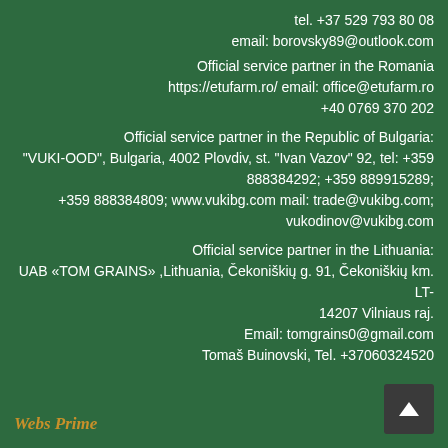tel. +37 529 793 80 08
email: borovsky89@outlook.com
Official service partner in the Romania
https://etufarm.ro/ email: office@etufarm.ro
+40 0769 370 202
Official service partner in the Republic of Bulgaria:
"VUKI-OOD", Bulgaria, 4002 Plovdiv, st. "Ivan Vazov" 92, tel: +359 888384292; +359 889915289;
+359 888384809; www.vukibg.com mail: trade@vukibg.com;
vukodinov@vukibg.com
Official service partner in the Lithuania:
UAB «TOM GRAINS» ,Lithuania, Čekoniškių g. 91, Čekoniškių km. LT-14207 Vilniaus raj.
Email: tomgrains0@gmail.com
Tomaš Buinovski, Tel. +37060324520
[Figure (logo): WebsPrime logo in italic golden/orange script font]
[Figure (other): Dark grey square button with white upward-pointing arrow (back to top button)]